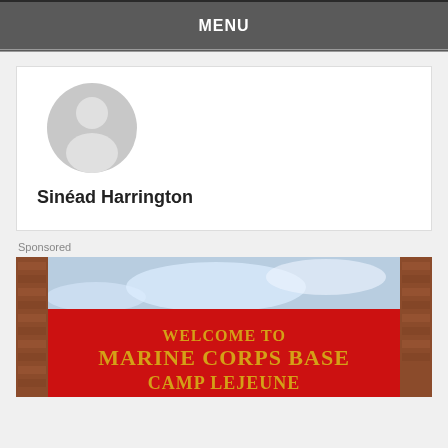MENU
[Figure (illustration): Author avatar placeholder with grey circular profile icon showing a generic person silhouette]
Sinéad Harrington
Sponsored
[Figure (photo): Photo of a red sign reading WELCOME TO MARINE CORPS BASE CAMP LEJEUNE with gold lettering, brick columns visible, blue sky in background]